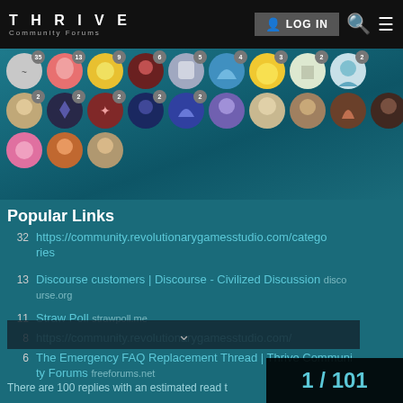THRIVE Community Forums | LOG IN
[Figure (photo): Grid of user avatar profile pictures with reply count badges, displayed on a teal/dark background]
Popular Links
32  https://community.revolutionarygamesstudio.com/categories
13  Discourse customers | Discourse - Civilized Discussion  discourse.org
11  Straw Poll  strawpoll.me
8   https://community.revolutionarygamesstudio.com/
6   The Emergency FAQ Replacement Thread | Thrive Community Forums  freeforums.net
1 / 101
There are 100 replies with an estimated read t